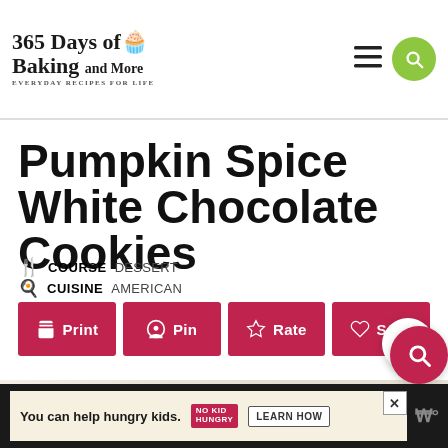365 Days of Baking and More — EVERYDAY RECIPES FOR LIFE
Pumpkin Spice White Chocolate Cookies
COURSE DESSERT
CUISINE AMERICAN
Print | Pin | Rate | Save
Cook Mode — Prevent your screen from going dark
You can help hungry kids. NO KID HUNGRY LEARN HOW